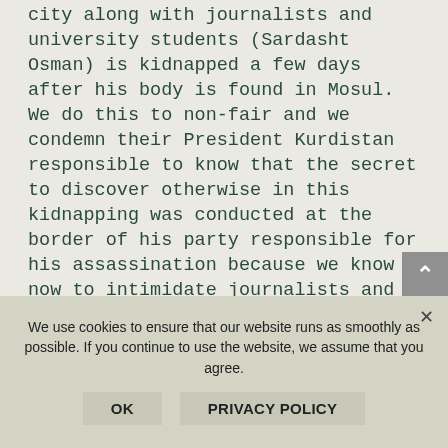city along with journalists and university students (Sardasht Osman) is kidnapped a few days after his body is found in Mosul. We do this to non-fair and we condemn their President Kurdistan responsible to know that the secret to discover otherwise in this kidnapping was conducted at the border of his party responsible for his assassination because we know now to intimidate journalists and beating unarmed his party at the border is done he has no reaction. While we're condemned to do this sorrow and regret to the family and we have announced late on your site about this campaign announced and we want
We use cookies to ensure that our website runs as smoothly as possible. If you continue to use the website, we assume that you agree.